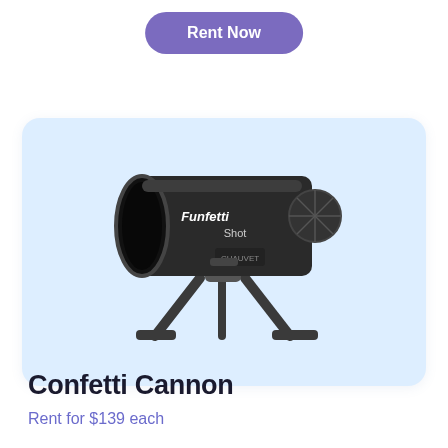Rent Now
[Figure (photo): Black Funfetti Shot confetti cannon machine by Chauvet, mounted on a tripod stand, photographed against a light blue background card.]
Confetti Cannon
Rent for $139 each